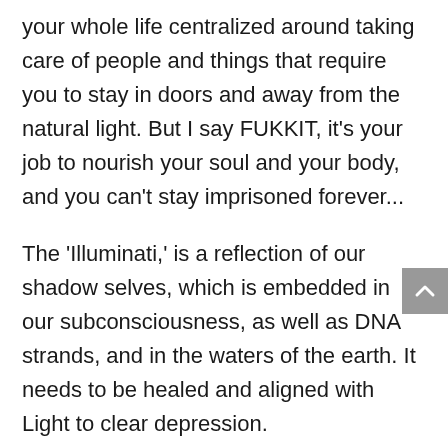your whole life centralized around taking care of people and things that require you to stay in doors and away from the natural light. But I say FUKKIT, it's your job to nourish your soul and your body, and you can't stay imprisoned forever...
The 'Illuminati,' is a reflection of our shadow selves, which is embedded in our subconsciousness, as well as DNA strands, and in the waters of the earth. It needs to be healed and aligned with Light to clear depression.
Don't freak out about it, but the Illuminati is present within everything until it gets cleared